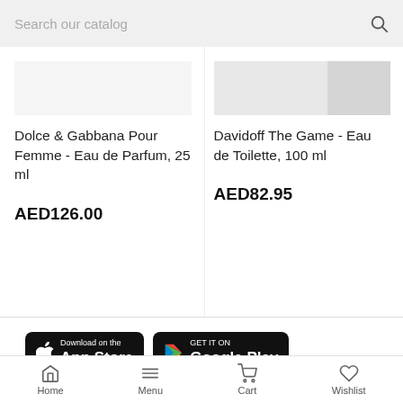Search our catalog
Dolce & Gabbana Pour Femme - Eau de Parfum, 25 ml
AED126.00
Davidoff The Game - Eau de Toilette, 100 ml
AED82.95
[Figure (logo): Download on the App Store button]
[Figure (logo): Get it on Google Play button]
Tel / WhatsApp: +971 55 684 9137
Email: sales@frenchfragrance.com
Address: Dubai - United Arab Emirates
Home  Menu  Cart  Wishlist